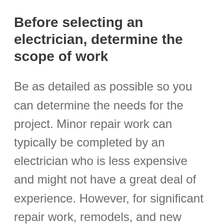Before selecting an electrician, determine the scope of work
Be as detailed as possible so you can determine the needs for the project. Minor repair work can typically be completed by an electrician who is less expensive and might not have a great deal of experience. However, for significant repair work, remodels, and new construction, it is crucial to get an experienced tradesperson. Incorrect wiring can be extremely hazardous and...